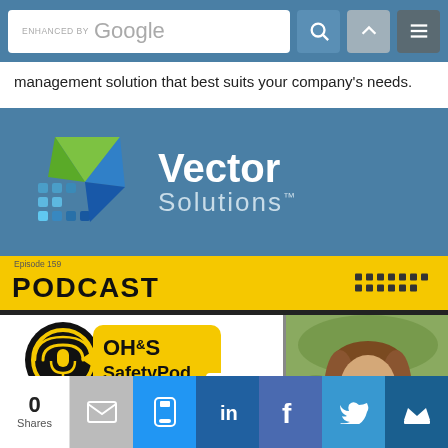[Figure (screenshot): Search bar with Google Custom Search, search button, up arrow nav, and hamburger menu on blue header background]
management solution that best suits your company's needs.
[Figure (logo): Vector Solutions logo on blue/teal background — stylized green and blue arrow icon with 'Vector Solutions' white text]
Episode 159 PODCAST
[Figure (logo): OH&S SafetyPod podcast logo — yellow speech bubble shape with microphone icon, black text 'OH&S SafetyPod']
Weekly Safety Speak
sponsored by NFPA LiNK
[Figure (photo): Professional headshot of a smiling young woman with long brown hair wearing a green top, outdoors background]
0
Shares
[Figure (infographic): Share bar with email, SMS/mobile, LinkedIn, Facebook, Twitter, and crown/other social icons]